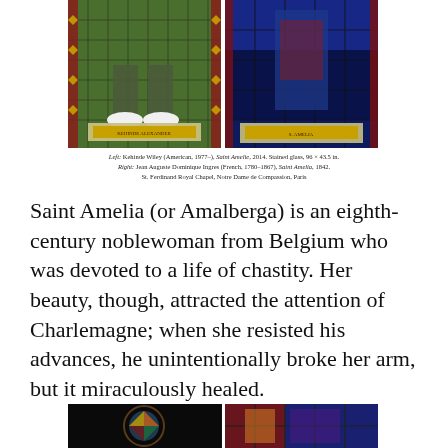[Figure (photo): Two stained glass panels side by side. Left: a figure standing on a pedestal with green background and a nameplate reading 'KEHINDE ALEXANDER'. Right: a religious stained glass figure with blue background and nameplate reading 'S. AMELIA'.]
Left: Kehinde Wiley (American, 1977–), Saint Amelie, 2014. Stained glass, 96 × 43.5 in.
Right: Jean Auguste Dominique Ingres (French, 1780–1867), Saint Amelia, 1842.
St. Ferdinand Royal Chapel, Notre Dame de Compassion, Paris
Saint Amelia (or Amalberga) is an eighth-century noblewoman from Belgium who was devoted to a life of chastity. Her beauty, though, attracted the attention of Charlemagne; when she resisted his advances, he unintentionally broke her arm, but it miraculously healed.
[Figure (photo): Two partial images at the bottom of the page: left shows a circular stained glass with dark background, right shows a colorful stained glass figure.]